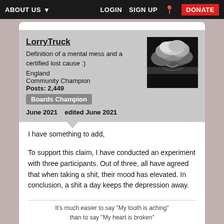ABOUT US  LOGIN  SIGN UP  DONATE
LorryTruck
Definition of a mental mess and a certified lost cause :)
England
Community Champion
Posts: 2,449
Boards Champion
June 2021   edited June 2021
I have something to add,

To support this claim, I have conducted an experiment with three participants. Out of three, all have agreed that when taking a shit, their mood has elevated. In conclusion, a shit a day keeps the depression away.
It's much easier to say "My tooth is aching" than to say "My heart is broken"